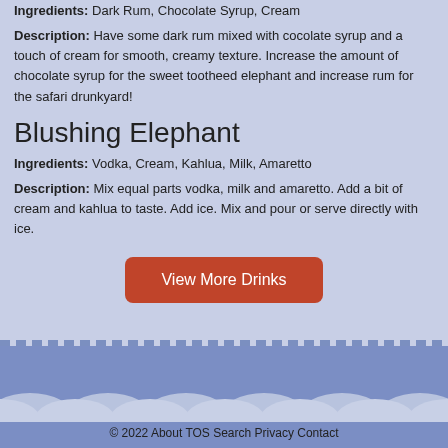Ingredients: Dark Rum, Chocolate Syrup, Cream
Description: Have some dark rum mixed with cocolate syrup and a touch of cream for smooth, creamy texture. Increase the amount of chocolate syrup for the sweet tootheed elephant and increase rum for the safari drunkyard!
Blushing Elephant
Ingredients: Vodka, Cream, Kahlua, Milk, Amaretto
Description: Mix equal parts vodka, milk and amaretto. Add a bit of cream and kahlua to taste. Add ice. Mix and pour or serve directly with ice.
View More Drinks
© 2022 About TOS Search Privacy Contact